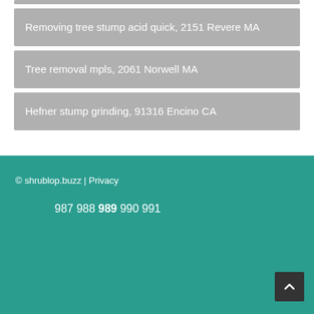Removing tree stump acid quick, 2151 Revere MA
Tree removal mpls, 2061 Norwell MA
Hefner stump grinding, 91316 Encino CA
© shrublop.buzz | Privacy
987 988 989 990 991